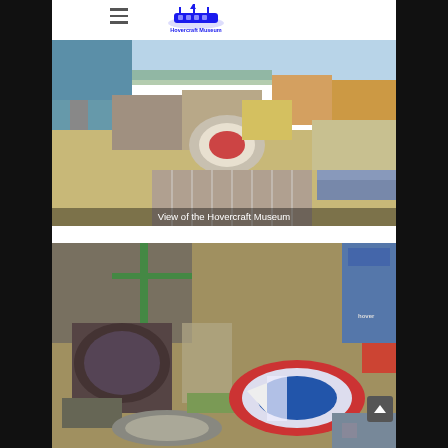Hovercraft Museum
[Figure (photo): Aerial view of the Hovercraft Museum site with buildings, large hovercraft in the center, parking area with trucks, and coastline with sea visible in the background.]
View of the Hovercraft Museum
[Figure (photo): Close-up aerial view of hovercraft and equipment at the Hovercraft Museum, showing multiple hovercrafts on the ground including a red and white one, with a building and crane visible.]